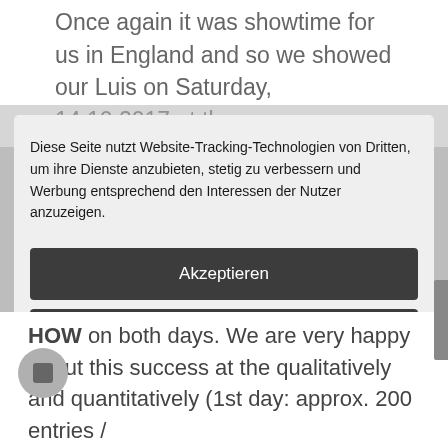Once again it was showtime for us in England and so we showed our Luis on Saturday, 14.10.2017 at the
Diese Seite nutzt Website-Tracking-Technologien von Dritten, um ihre Dienste anzubieten, stetig zu verbessern und Werbung entsprechend den Interessen der Nutzer anzuzeigen.
Akzeptieren
Ablehnen
mehr
Powered by usercentrics & eRecht24
HOW on both days. We are very happy about this success at the qualitatively and quantitatively (1st day: approx. 200 entries /